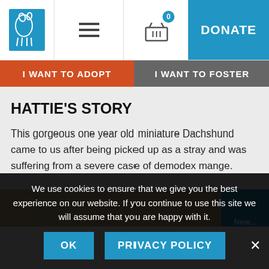I WANT TO ADOPT
I WANT TO FOSTER
HATTIE'S STORY
This gorgeous one year old miniature Dachshund came to us after being picked up as a stray and was suffering from a severe case of demodex mange.
[Figure (photo): Close-up photo of a dog, partially visible at bottom of page]
We use cookies to ensure that we give you the best experience on our website. If you continue to use this site we will assume that you are happy with it.
OK
PRIVACY POLICY